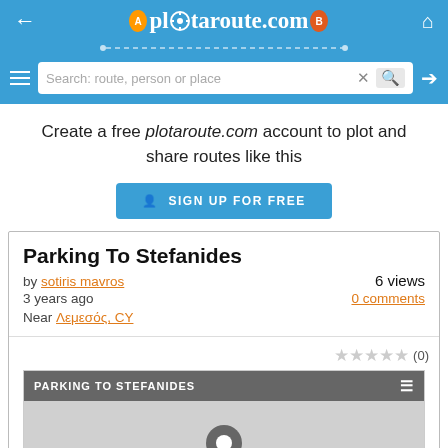plotaroute.com — navigation header with search bar
Create a free plotaroute.com account to plot and share routes like this
SIGN UP FOR FREE
Parking To Stefanides
by sotiris mavros   6 views
3 years ago   0 comments
Near Λεμεσός, CY
★★★★★ (0)
[Figure (screenshot): Map preview with dark grey bar showing 'PARKING TO STEFANIDES' title and a grey map area with a location pin icon at the bottom]